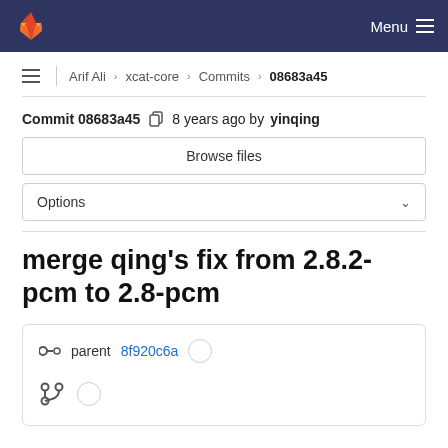GitLab — Menu
Arif Ali > xcat-core > Commits > 08683a45
Commit 08683a45  8 years ago by yinqing
Browse files
Options
merge qing's fix from 2.8.2-pcm to 2.8-pcm
parent 8f920c6a